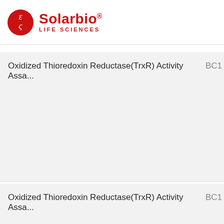Solarbio® LIFE SCIENCES
Oxidized Thioredoxin Reductase(TrxR) Activity Assa... BC1
Oxidized Thioredoxin Reductase(TrxR) Activity Assa... BC1